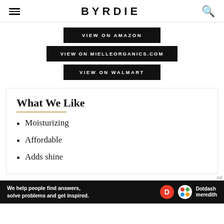BYRDIE
VIEW ON AMAZON
VIEW ON MIELLEORGANICS.COM
VIEW ON WALMART
What We Like
Moisturizing
Affordable
Adds shine
We help people find answers, solve problems and get inspired. Dotdash meredith